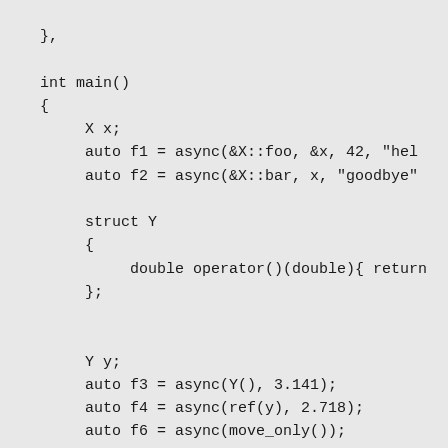},

int main()
{
    X x;
    auto f1 = async(&X::foo, &x, 42, "hel
    auto f2 = async(&X::bar, x, "goodbye"

    struct Y
    {
        double operator()(double){ return
    };


    Y y;
    auto f3 = async(Y(), 3.141);
    auto f4 = async(ref(y), 2.718);
    auto f6 = async(move_only());